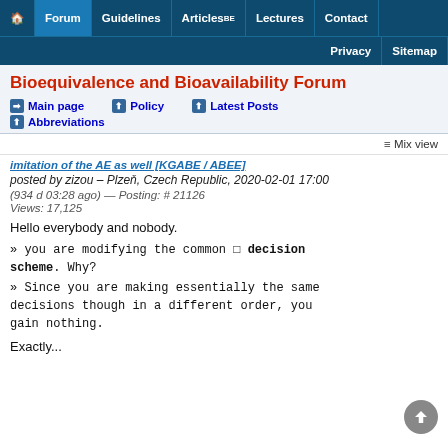🏠 Forum | Guidelines | Articles BE | Lectures | Contact | Privacy | Sitemap
Bioequivalence and Bioavailability Forum
➡ Main page  ⬆ Policy  ⬆ Latest Posts  ⬆ Abbreviations
≡ Mix view
imitation of the AE as well [KGABE / ABEE]
posted by zizou – Plzeň, Czech Republic, 2020-02-01 17:00
(934 d 03:28 ago) — Posting: # 21126
Views: 17,125
Hello everybody and nobody.
» you are modifying the common □ decision scheme. Why?
» Since you are making essentially the same decisions though in a different order, you gain nothing.
Exactly...